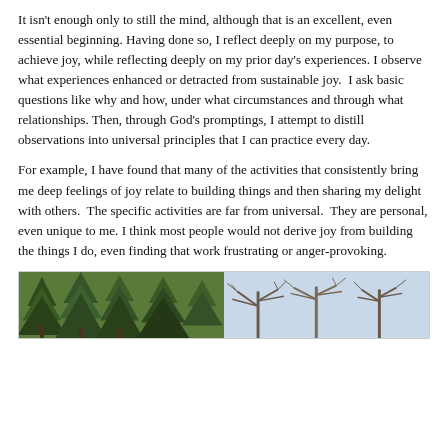It isn't enough only to still the mind, although that is an excellent, even essential beginning. Having done so, I reflect deeply on my purpose, to achieve joy, while reflecting deeply on my prior day's experiences. I observe what experiences enhanced or detracted from sustainable joy.  I ask basic questions like why and how, under what circumstances and through what relationships. Then, through God's promptings, I attempt to distill observations into universal principles that I can practice every day.
For example, I have found that many of the activities that consistently bring me deep feelings of joy relate to building things and then sharing my delight with others.  The specific activities are far from universal.  They are personal, even unique to me. I think most people would not derive joy from building the things I do, even finding that work frustrating or anger-provoking.
[Figure (photo): A photograph showing trees: on the left, dense green evergreen trees; on the right, bare deciduous trees with branches against a light sky background.]